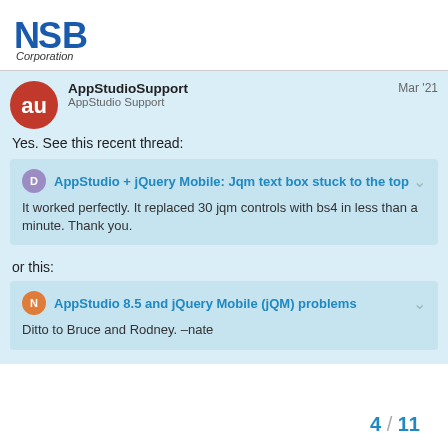NSB Corporation
AppStudioSupport — AppStudio Support — Mar '21
Yes. See this recent thread:
AppStudio + jQuery Mobile: Jqm text box stuck to the top
It worked perfectly. It replaced 30 jqm controls with bs4 in less than a minute. Thank you.
or this:
AppStudio 8.5 and jQuery Mobile (jQM) problems
Ditto to Bruce and Rodney. –nate
4 / 11